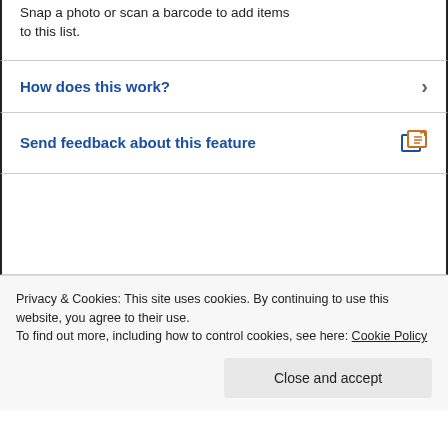Snap a photo or scan a barcode to add items to this list.
How does this work?
Send feedback about this feature
Privacy & Cookies: This site uses cookies. By continuing to use this website, you agree to their use.
To find out more, including how to control cookies, see here: Cookie Policy
Close and accept